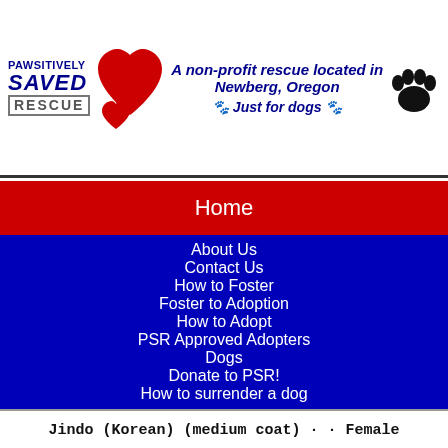[Figure (logo): Pawsitively Saved Rescue logo with red hearts and paw print]
Home
About Us
Contact Us
How to Foster
Foster to Adoption
How to Adopt
PSR Approved Adopters
Dogs
Donate to PSR!
How to surrender a dog
Jindo (Korean) (medium coat) ·· Female